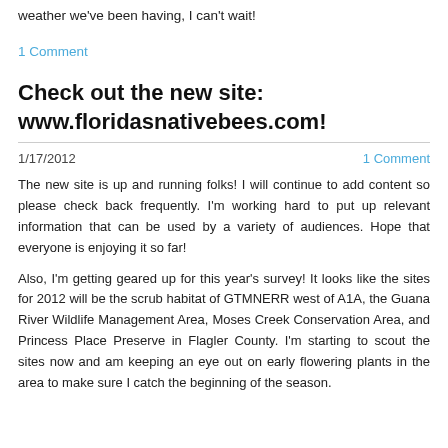weather we've been having, I can't wait!
1 Comment
Check out the new site: www.floridasnativebees.com!
1/17/2012
1 Comment
The new site is up and running folks!  I will continue to add content so please check back frequently.  I'm working hard to put up relevant information that can be used by a variety of audiences.  Hope that everyone is enjoying it so far!
Also, I'm getting geared up for this year's survey!  It looks like the sites for 2012 will be the scrub habitat of GTMNERR west of A1A, the Guana River Wildlife Management Area, Moses Creek Conservation Area, and Princess Place Preserve in Flagler County.  I'm starting to scout the sites now and am keeping an eye out on early flowering plants in the area to make sure I catch the beginning of the season.